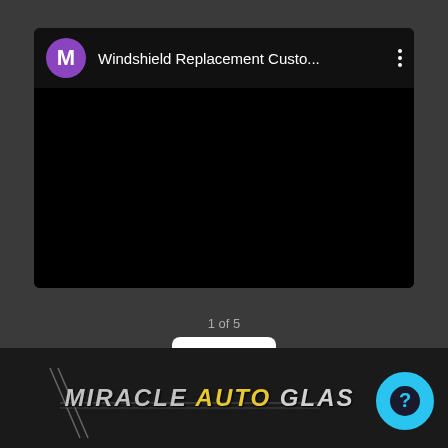[Figure (screenshot): Mobile app screenshot showing a video card with purple M avatar, title 'Windshield Replacement Custo...' with three-dot menu, black video area, '1 of 5' pagination text, Next button, and Miracle Auto Glass branding at the bottom with a help chat bubble.]